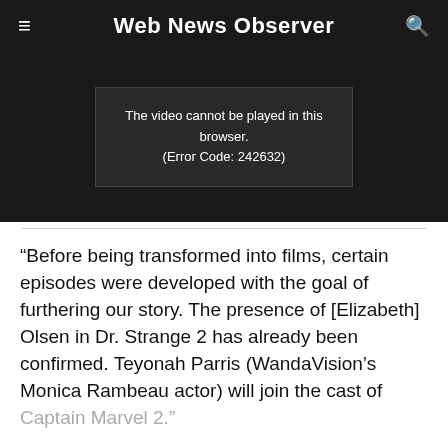Web News Observer
[Figure (screenshot): Video player showing error message: The video cannot be played in this browser. (Error Code: 242632)]
“Before being transformed into films, certain episodes were developed with the goal of furthering our story. The presence of [Elizabeth] Olsen in Dr. Strange 2 has already been confirmed. Teyonah Parris (WandaVision’s Monica Rambeau actor) will join the cast of Captain Marvel 2.”